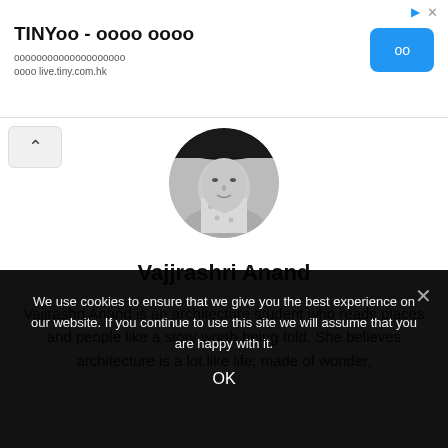[Figure (screenshot): Advertisement banner for TINY app with Chinese text and a blue button. Shows ad title 'TINYoo - oooo oooo', subtitle text with Chinese characters and 'live.tiny.com.hk', and a blue button on the right.]
[Figure (photo): Circular profile photo of Vajjrashri Anand, a person wearing a hat and floral clothing, shown in black and white.]
Vajjrashri Anand
Vajjrashri Anand is an architecture student who reads places and people like a story worth being told. She believes architecture is a lot like life; made of wonder,
We use cookies to ensure that we give you the best experience on our website. If you continue to use this site we will assume that you are happy with it.
OK